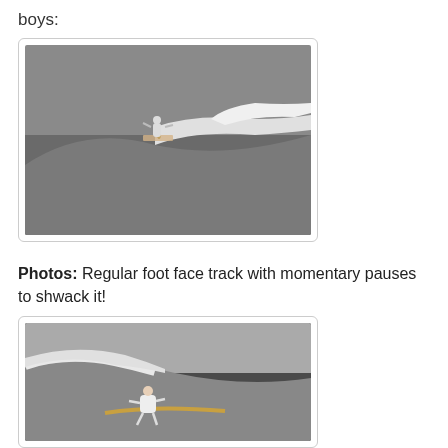boys:
[Figure (photo): Surfer riding a large wave, performing a maneuver on the face of the wave. Overcast sky, grayscale tones.]
Photos: Regular foot face track with momentary pauses to shwack it!
[Figure (photo): Surfer crouching low on a longboard, riding along the face of a large wave with dark foliage visible in the background.]